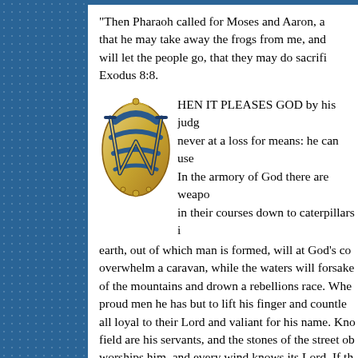"Then Pharaoh called for Moses and Aaron, a that he may take away the frogs from me, and will let the people go, that they may do sacrifi Exodus 8:8.
[Figure (illustration): Decorative drop cap letter W in Old English / blackletter style, gold and blue colors, ornate medieval style initial.]
HEN IT PLEASES GOD by his judg never at a loss for means: he can use In the armory of God there are weapo in their courses down to caterpillars i earth, out of which man is formed, will at God's co overwhelm a caravan, while the waters will forsake of the mountains and drown a rebellions race. Whe proud men he has but to lift his finger and countle all loyal to their Lord and valiant for his name. Kno field are his servants, and the stones of the street ob worships him, and every wind knows its Lord. If th would be well for thee to know what his forces are: more.
In the case before us Jehovah has to deal with b by frogs. Strange! Singular! One would have thoug would never have been used. The Lord began with